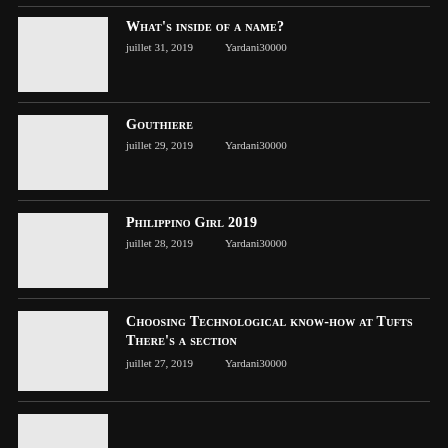What's inside of a name?
juillet 31, 2019   Yardani30000
Gouthiere
juillet 29, 2019   Yardani30000
Philippino Girl 2019
juillet 28, 2019   Yardani30000
Choosing Technological know-how at Tufts There's a section
juillet 27, 2019   Yardani30000